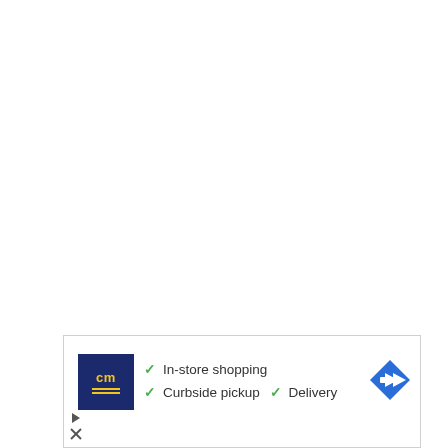Aerospace companies in Italy
[Figure (infographic): Advertisement box with CM logo, checkmark features: In-store shopping, Curbside pickup, Delivery, and a blue navigation arrow icon]